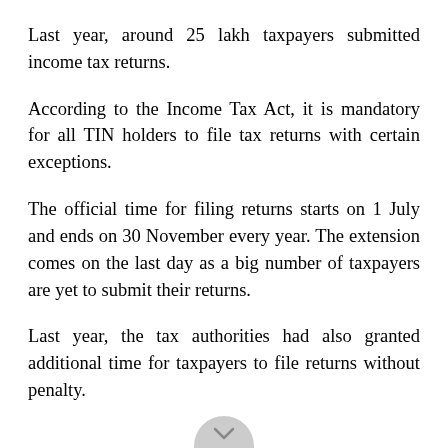Last year, around 25 lakh taxpayers submitted income tax returns.
According to the Income Tax Act, it is mandatory for all TIN holders to file tax returns with certain exceptions.
The official time for filing returns starts on 1 July and ends on 30 November every year. The extension comes on the last day as a big number of taxpayers are yet to submit their returns.
Last year, the tax authorities had also granted additional time for taxpayers to file returns without penalty.